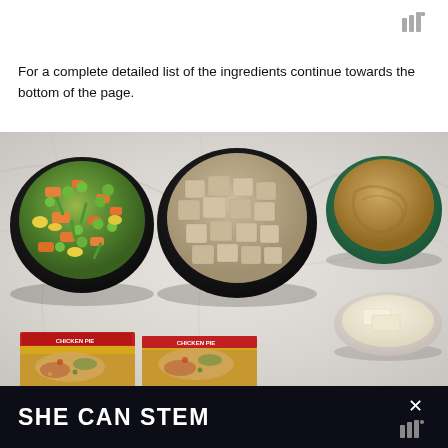For a complete detailed list of the ingredients continue towards the bottom of the page.
[Figure (photo): Overhead view of ingredients in bowls on a marble surface: a bowl of frozen mixed vegetables (carrots, peas, green beans, corn), a bowl of cubed cooked chicken, a bowl of peanut butter or similar spread, and a small dish with butter pats. Two yellow/red boxes (possibly frozen food packages) are partially visible at the bottom.]
SHE CAN STEM